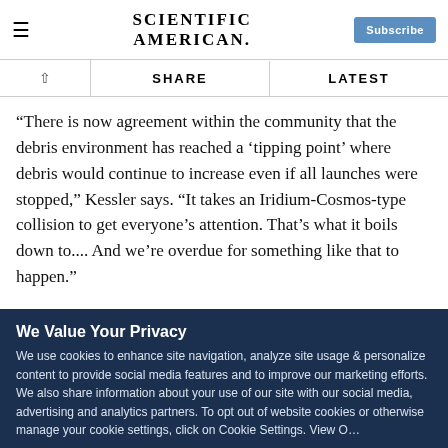Scientific American | Subscribe
“There is now agreement within the community that the debris environment has reached a ‘tipping point’ where debris would continue to increase even if all launches were stopped,” Kessler says. “It takes an Iridium-Cosmos-type collision to get everyone’s attention. That’s what it boils down to.... And we’re overdue for something like that to happen.”
As for the Kessler syndrome, “it has already started,” the debris
We Value Your Privacy
We use cookies to enhance site navigation, analyze site usage & personalize content to provide social media features and to improve our marketing efforts. We also share information about your use of our site with our social media, advertising and analytics partners. To opt out of website cookies or otherwise manage your cookie settings, click on Cookie Settings. View O...